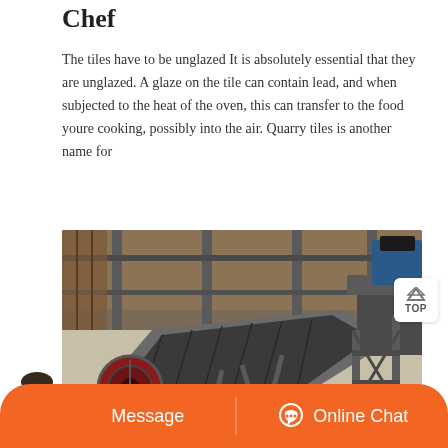Chef
The tiles have to be unglazed It is absolutely essential that they are unglazed. A glaze on the tile can contain lead, and when subjected to the heat of the oven, this can transfer to the food youre cooking, possibly into the air. Quarry tiles is another name for
[Figure (photo): Industrial conveyor belt and machinery equipment inside a factory or quarry facility, viewed from above at an angle. Shows a long inclined belt conveyor, large flywheel, blue electric motor, metal framework structures, and industrial equipment.]
Message | Online Chat